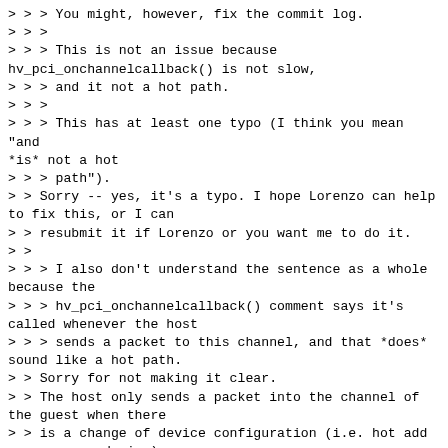> > >  You might, however, fix the commit log.
> > >
> > >   This is not an issue because hv_pci_onchannelcallback() is not slow,
> > >   and it not a hot path.
> > >
> > > This has at least one typo (I think you mean "and *is* not a hot
> > > path").
> >  Sorry -- yes, it's a typo. I hope Lorenzo can help to fix this, or I can
> >  resubmit it if Lorenzo or you want me to do it.
> >
> > > I also don't understand the sentence as a whole because the
> > > hv_pci_onchannelcallback() comment says it's called whenever the host
> > > sends a packet to this channel, and that *does* sound like a hot path.
> >  Sorry for not making it clear.
> >  The host only sends a packet into the channel of the guest when there
> >  is a change of device configuration (i.e. hot add or remove a device), or
> >  the host is responding to the guest's request.
> >
> >  The change of device configuration is only triggered on-demand by the
> >  administrator on the host, and the guest's requests are one-off when
> >  the device is probed.